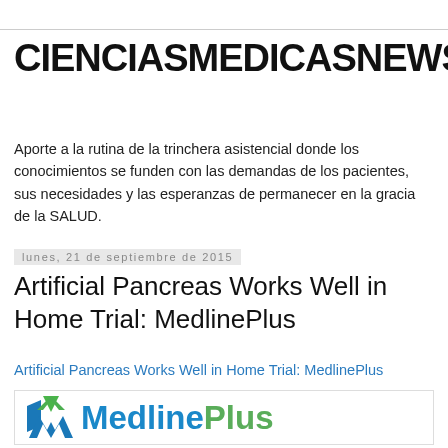CIENCIASMEDICASNEWS
Aporte a la rutina de la trinchera asistencial donde los conocimientos se funden con las demandas de los pacientes, sus necesidades y las esperanzas de permanecer en la gracia de la SALUD.
lunes, 21 de septiembre de 2015
Artificial Pancreas Works Well in Home Trial: MedlinePlus
Artificial Pancreas Works Well in Home Trial: MedlinePlus
[Figure (logo): MedlinePlus logo with green/blue heart icon and blue 'Medline' plus green 'Plus' text]